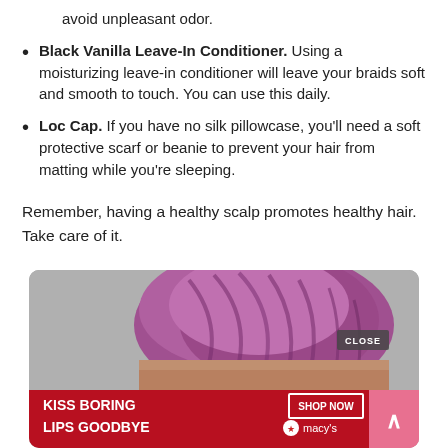avoid unpleasant odor.
Black Vanilla Leave-In Conditioner. Using a moisturizing leave-in conditioner will leave your braids soft and smooth to touch. You can use this daily.
Loc Cap. If you have no silk pillowcase, you'll need a soft protective scarf or beanie to prevent your hair from matting while you're sleeping.
Remember, having a healthy scalp promotes healthy hair. Take care of it.
[Figure (photo): Advertisement showing a woman with large purple/pink braids piled on her head, face partially visible with red lips. Dark red banner at bottom reads 'KISS BORING LIPS GOODBYE' with 'SHOP NOW' button and Macy's logo. Close button visible in upper right of ad.]